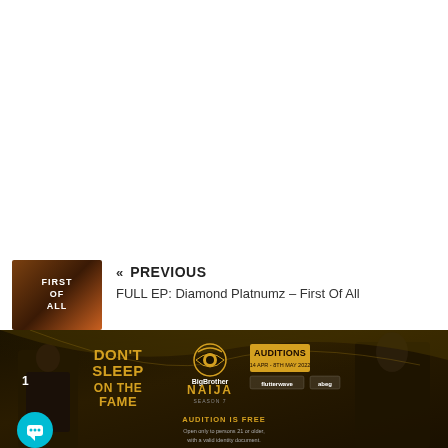« PREVIOUS
FULL EP: Diamond Platnumz – First Of All
[Figure (photo): Big Brother Naija Season 7 advertisement banner with DON'T SLEEP ON THE FAME tagline, two people standing, auditions info, Flutterwave and Abeg partner logos]